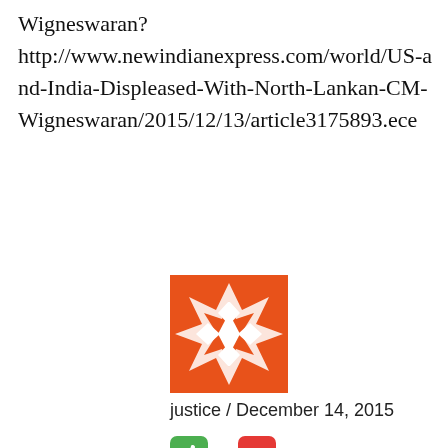Wigneswaran? http://www.newindianexpress.com/world/US-and-India-Displeased-With-North-Lankan-CM-Wigneswaran/2015/12/13/article3175893.ece
[Figure (illustration): Orange decorative avatar icon with geometric star/diamond pattern in white on orange background]
justice / December 14, 2015
thumbs up: 0, thumbs down: 2
Eusense,
[Figure (screenshot): Advertisement banner: Petco logo with text 'Get Your Pet Ready For Summe' and 'Petco' subtitle, with navigation arrow icon and scroll-up button]
Get Your Pet Ready For Summe
Petco